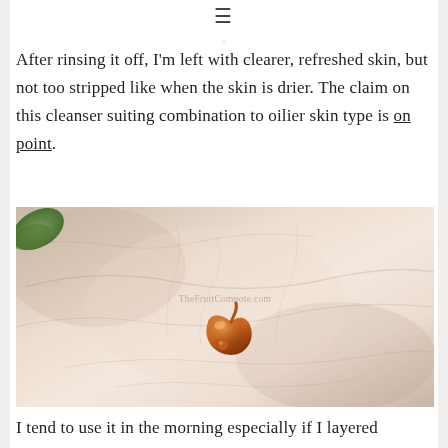≡
After rinsing it off, I'm left with clearer, refreshed skin, but not too stripped like when the skin is drier. The claim on this cleanser suiting combination to oilier skin type is on point.
[Figure (photo): Close-up photo of a human palm holding a small amber/brown drop of cleanser gel. Watermark reads TheFruitCompote.com.]
I tend to use it in the morning especially if I layered